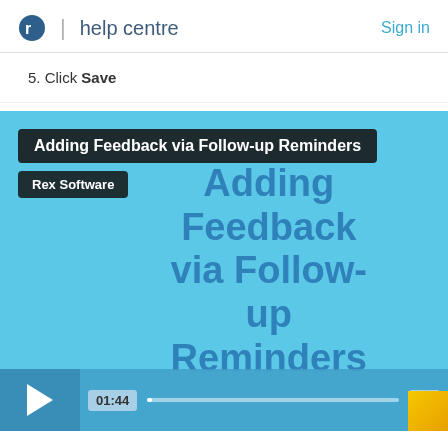rex | help centre  Sign in
5. Click Save
[Figure (screenshot): Embedded video player showing 'Adding Feedback via Follow-up Reminders' video by Rex Software. The video thumbnail has a light blue background with the title text centered. Video controls show play button, timestamp 01:44, progress bar, and CC button.]